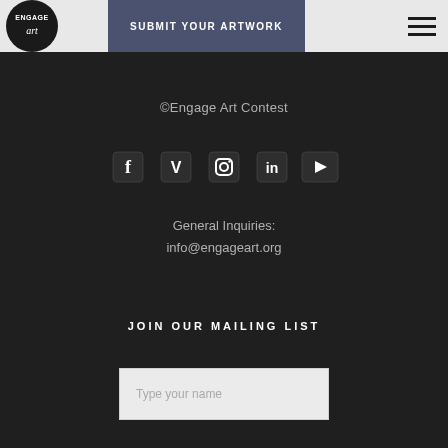SUBMIT YOUR ARTWORK
©Engage Art Contest
[Figure (infographic): Social media icons row: Facebook, Vimeo, Instagram, LinkedIn, YouTube]
General Inquiries:
info@engageart.org
JOIN OUR MAILING LIST
Type your name